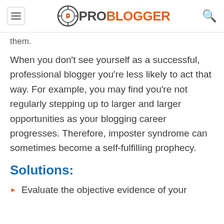ProBlogger
them.
When you don't see yourself as a successful, professional blogger you're less likely to act that way. For example, you may find you're not regularly stepping up to larger and larger opportunities as your blogging career progresses. Therefore, imposter syndrome can sometimes become a self-fulfilling prophecy.
Solutions:
Evaluate the objective evidence of your